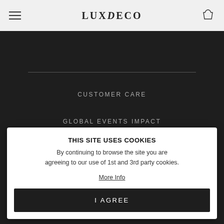LUXDECO
CUSTOMER CARE
GLOBAL EVENTS IMPACT
DELIVERY INFORMATION
RETURNS & REFUNDS
THIS SITE USES COOKIES
By continuing to browse the site you are agreeing to our use of 1st and 3rd party cookies.
More Info
I AGREE